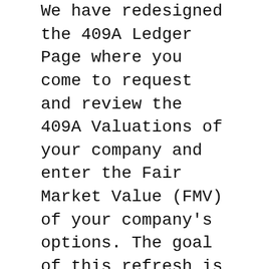We have redesigned the 409A Ledger Page where you come to request and review the 409A Valuations of your company and enter the Fair Market Value (FMV) of your company's options. The goal of this refresh is to help you navigate the valuation process with ease and access resources quickly whenever you need assistance.
With this updated design you will quickly and easily identify where you are in the valuation process and what to expect next. Carta is here to help you along the way with curated support articles and a variety of options to get in touch with us if you have questions not covered within the articles.
How it Works
Under Compliance > 409A you will find a number of